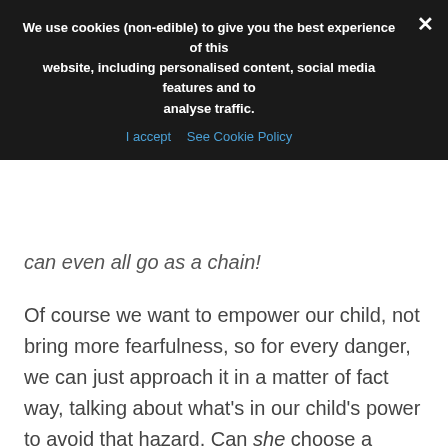We use cookies (non-edible) to give you the best experience of this website, including personalised content, social media features and to analyse traffic.
I accept  See Cookie Policy
can even all go as a chain!
Of course we want to empower our child, not bring more fearfulness, so for every danger, we can just approach it in a matter of fact way, talking about what's in our child's power to avoid that hazard. Can she choose a place that's safe to play (rather than us dictating – which we all do sometimes)? What strategies can she come up with to avoid hazards?